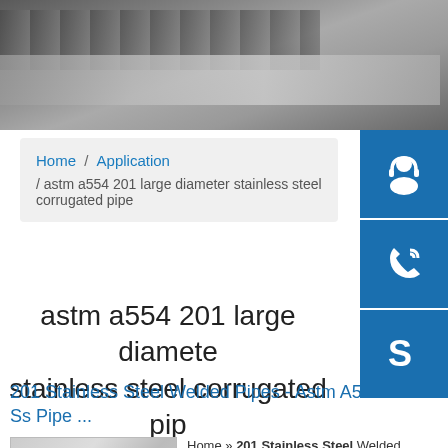[Figure (photo): Hero image showing stacked steel plates/sheets, dark metallic surface]
Home / Application / astm a554 201 large diameter stainless steel corrugated pipe
astm a554 201 large diameter stainless steel corrugated pipe
201 Stainless Steel Welded Pipes - Astm A554 Ss Pipe ...
Home » 201 Stainless Steel Welded Pipes. Products Categories. ... Big Diameter And Thick Round Pi...
[Figure (photo): Thumbnail image of stainless steel sheet/plate material]